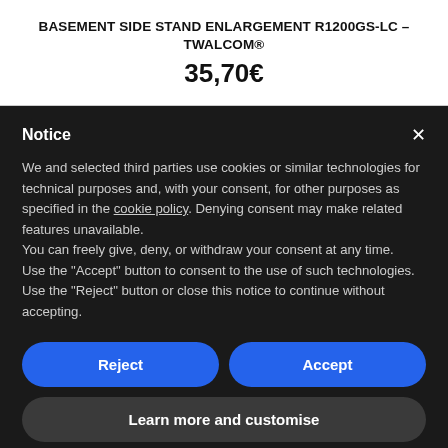BASEMENT SIDE STAND ENLARGEMENT R1200GS-LC – TWALCOM®
35,70€
Notice
We and selected third parties use cookies or similar technologies for technical purposes and, with your consent, for other purposes as specified in the cookie policy. Denying consent may make related features unavailable.
You can freely give, deny, or withdraw your consent at any time.
Use the "Accept" button to consent to the use of such technologies. Use the "Reject" button or close this notice to continue without accepting.
Reject
Accept
Learn more and customise